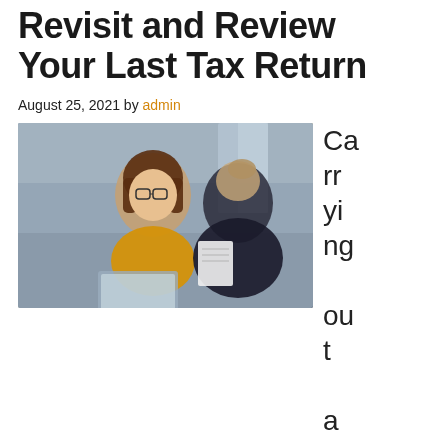Revisit and Review Your Last Tax Return
August 25, 2021 by admin
[Figure (photo): Two women in a business meeting, one wearing glasses and a yellow sweater facing the camera, the other with back turned, both appear to be reviewing documents near a laptop in an office setting.]
Carrying out a post-tax season review of your income tax return can be very helpful way to gain new insight into your financial situation. It's a bit